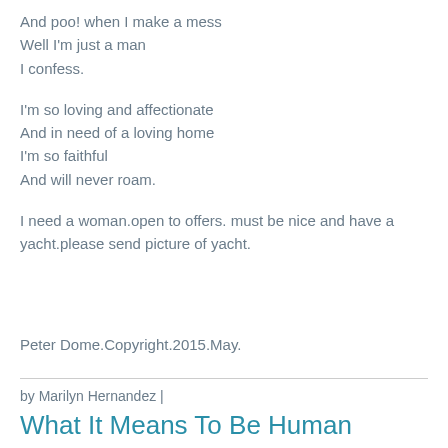And poo! when I make a mess
Well I'm just a man
I confess.

I'm so loving and affectionate
And in need of a loving home
I'm so faithful
And will never roam.

I need a woman.open to offers. must be nice and have a yacht.please send picture of yacht.
Peter Dome.Copyright.2015.May.
by Marilyn Hernandez |
What It Means To Be Human